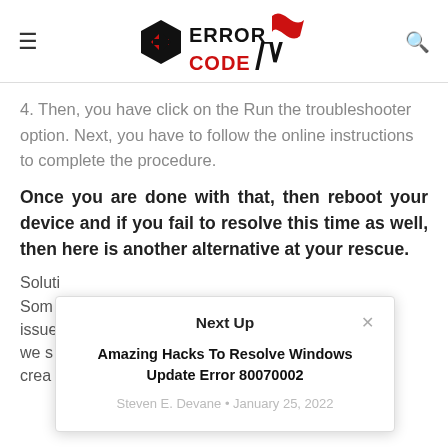≡  ERROR CODE  🔍
4. Then, you have click on the Run the troubleshooter option. Next, you have to follow the online instructions to complete the procedure.
Once you are done with that, then reboot your device and if you fail to resolve this time as well, then here is another alternative at your rescue.
Soluti
Som
issue
we s
crea
[Figure (screenshot): Next Up popup overlay with title 'Amazing Hacks To Resolve Windows Update Error 80070002' by Steven E. Devane, January 25, 2022]